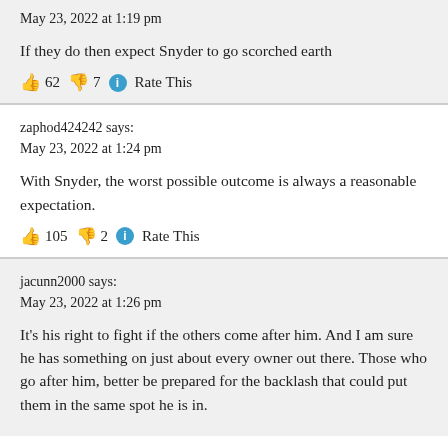May 23, 2022 at 1:19 pm
If they do then expect Snyder to go scorched earth
👍 62 👎 7 ℹ Rate This
zaphod424242 says:
May 23, 2022 at 1:24 pm
With Snyder, the worst possible outcome is always a reasonable expectation.
👍 105 👎 2 ℹ Rate This
jacunn2000 says:
May 23, 2022 at 1:26 pm
It's his right to fight if the others come after him. And I am sure he has something on just about every owner out there. Those who go after him, better be prepared for the backlash that could put them in the same spot he is in.